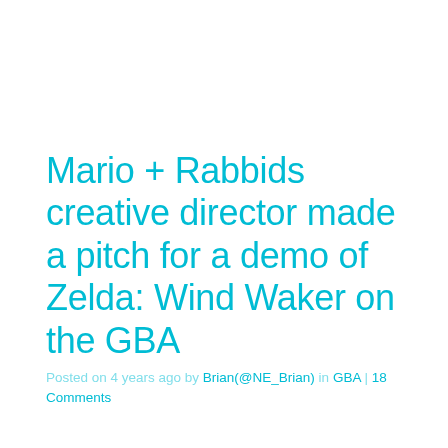Mario + Rabbids creative director made a pitch for a demo of Zelda: Wind Waker on the GBA
Posted on 4 years ago by Brian(@NE_Brian) in GBA | 18 Comments